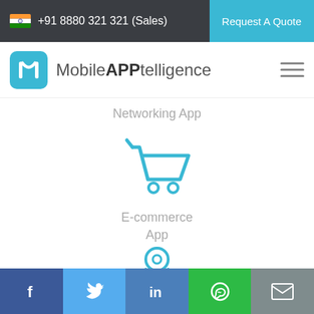+91 8880 321 321 (Sales)   Request A Quote
[Figure (logo): MobileAPPtelligence logo with cyan rounded square icon and company name]
Networking App
[Figure (illustration): Shopping cart icon in cyan/teal color]
E-commerce App
[Figure (illustration): Location pin / map marker icon in cyan/teal color]
Facebook  Twitter  LinkedIn  WhatsApp  Email